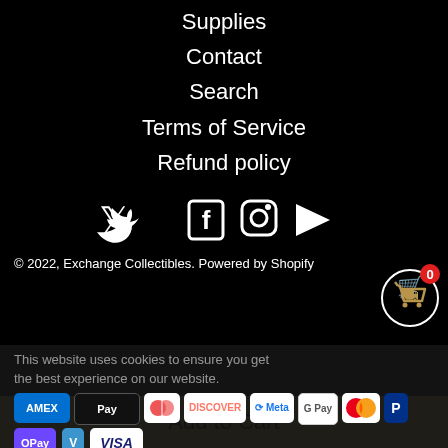Supplies
Contact
Search
Terms of Service
Refund policy
[Figure (infographic): Social media icons: Twitter, Facebook, Instagram, YouTube]
[Figure (infographic): Shopping cart icon with badge showing 0]
© 2022, Exchange Collectibles. Powered by Shopify
This website uses cookies to ensure you get the best experience on our website.
[Figure (infographic): Payment method badges: Amex, Apple Pay, Diners, Discover, Meta, Google Pay, Mastercard, PayPal, OPay, Venmo, Visa]
Learn More
Got it!
Add to Cart